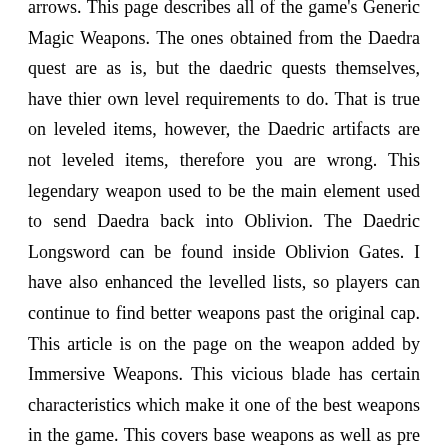arrows. This page describes all of the game's Generic Magic Weapons. The ones obtained from the Daedra quest are as is, but the daedric quests themselves, have thier own level requirements to do. That is true on leveled items, however, the Daedric artifacts are not leveled items, therefore you are wrong. This legendary weapon used to be the main element used to send Daedra back into Oblivion. The Daedric Longsword can be found inside Oblivion Gates. I have also enhanced the levelled lists, so players can continue to find better weapons past the original cap. This article is on the page on the weapon added by Immersive Weapons. This vicious blade has certain characteristics which make it one of the best weapons in the game. This covers base weapons as well as pre enchanted ones a long